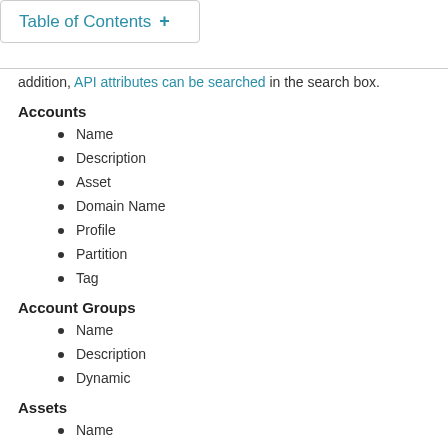Table of Contents +
addition, API attributes can be searched in the search box.
Accounts
Name
Description
Asset
Domain Name
Profile
Partition
Tag
Account Groups
Name
Description
Dynamic
Assets
Name
Description